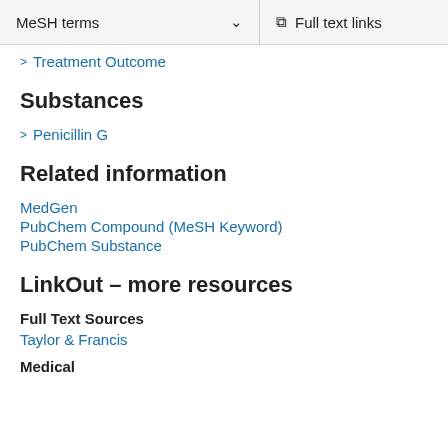MeSH terms   ∨   Full text links
Treatment Outcome
Substances
Penicillin G
Related information
MedGen
PubChem Compound (MeSH Keyword)
PubChem Substance
LinkOut – more resources
Full Text Sources
Taylor & Francis
Medical